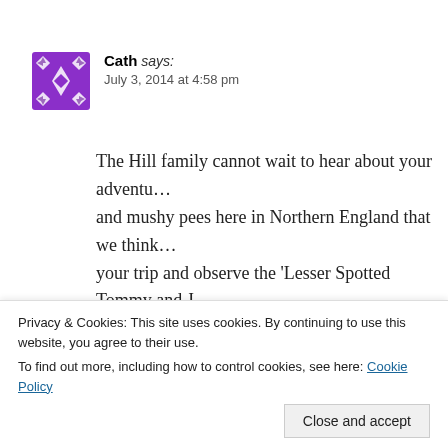Cath says:
July 3, 2014 at 4:58 pm
The Hill family cannot wait to hear about your adventu… and mushy pees here in Northern England that we think… your trip and observe the 'Lesser Spotted Tommy and J…
★ Like
Reply
Privacy & Cookies: This site uses cookies. By continuing to use this website, you agree to their use.
To find out more, including how to control cookies, see here: Cookie Policy
Close and accept